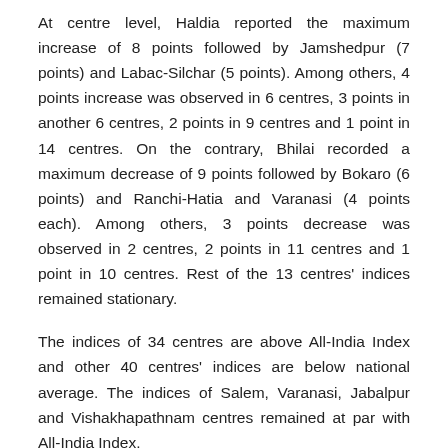At centre level, Haldia reported the maximum increase of 8 points followed by Jamshedpur (7 points) and Labac-Silchar (5 points). Among others, 4 points increase was observed in 6 centres, 3 points in another 6 centres, 2 points in 9 centres and 1 point in 14 centres. On the contrary, Bhilai recorded a maximum decrease of 9 points followed by Bokaro (6 points) and Ranchi-Hatia and Varanasi (4 points each). Among others, 3 points decrease was observed in 2 centres, 2 points in 11 centres and 1 point in 10 centres. Rest of the 13 centres' indices remained stationary.
The indices of 34 centres are above All-India Index and other 40 centres' indices are below national average. The indices of Salem, Varanasi, Jabalpur and Vishakhapathnam centres remained at par with All-India Index.